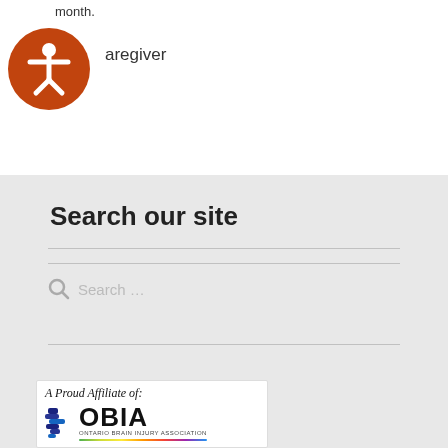month.
aregiver
[Figure (illustration): Orange circular accessibility icon with white human figure silhouette (arms and legs spread)]
Search our site
Search …
[Figure (logo): A Proud Affiliate of: OBIA - Ontario Brain Injury Association logo with stylized brain graphic and multicolor underline]